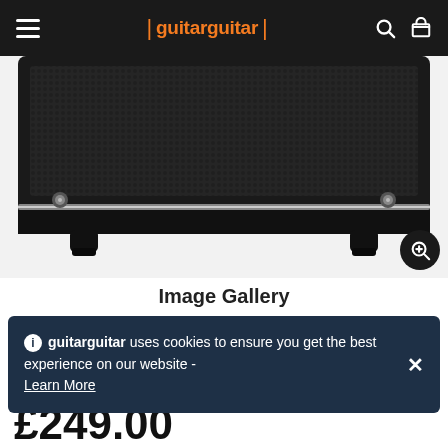guitarguitar
[Figure (photo): Close-up of the front/bottom of a black guitar amplifier cabinet with black mesh grille, two silver corner screws, chrome/silver strip along the bottom, and two black rubber feet. Shot against a white background.]
Image Gallery
guitarguitar uses cookies to ensure you get the best experience on our website - Learn More
RRP £278.00  Save £29.00
£249.00